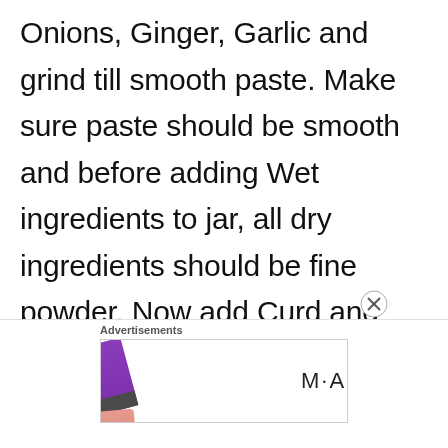Onions, Ginger, Garlic and grind till smooth paste. Make sure paste should be smooth and before adding Wet ingredients to jar, all dry ingredients should be fine powder. Now add Curd and blend again. Keep this gravy aside..
Advertisements
[Figure (photo): MAC cosmetics advertisement banner showing colorful lipsticks (purple, peach, pink, red) alongside the MAC logo and a 'SHOP NOW' call-to-action button]